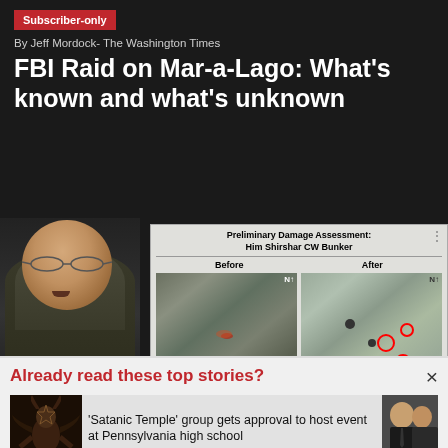Subscriber-only
By Jeff Mordock- The Washington Times
FBI Raid on Mar-a-Lago: What's known and what's unknown
[Figure (photo): Military officer speaking at podium with before/after satellite imagery of Preliminary Damage Assessment: Him Shirshar CW Bunker displayed on screen behind him]
By Ben Wolfgang - The Washington Times
Former CENTCOM chief says Biden
Already read these top stories?
[Figure (photo): Satanic Temple statue (Baphomet figure)]
'Satanic Temple' group gets approval to host event at Pennsylvania high school
[Figure (photo): Person in formal attire, partially visible]